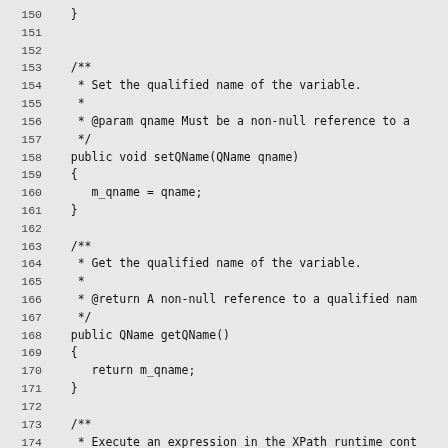Source code listing lines 150-179, showing Java methods setQName and getQName, and beginning of another method with XPath runtime context.